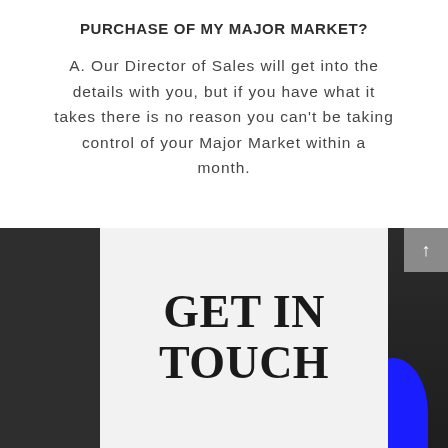PURCHASE OF MY MAJOR MARKET?
A. Our Director of Sales will get into the details with you, but if you have what it takes there is no reason you can't be taking control of your Major Market within a month.
[Figure (photo): Background photo of a dark scene with a white/light gray overlay panel in the center bottom, blue circle element on the right, and a gray back-to-top button in the top right corner]
GET IN TOUCH